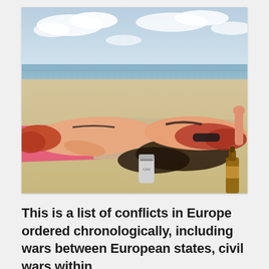[Figure (photo): Two young women in bikinis lying on beach towels on sandy beach, sunbathing. One has red hair and is lying face down. The other is lying on her back wearing sunglasses and holding a bottle. A can and a brown glass bottle are visible in the sand. Blue sky with clouds in the background.]
This is a list of conflicts in Europe ordered chronologically, including wars between European states, civil wars within